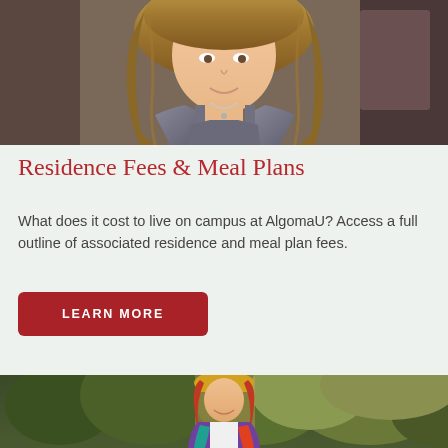[Figure (photo): Photo of a young woman with long wavy hair wearing a gray tank top and necklace, photographed indoors against a dark background]
Residence Fees & Meal Plans
What does it cost to live on campus at AlgomaU? Access a full outline of associated residence and meal plan fees.
LEARN MORE
[Figure (photo): Photo of a young woman with red hair wearing a yellow hat and colorful jacket, standing outdoors among green trees]